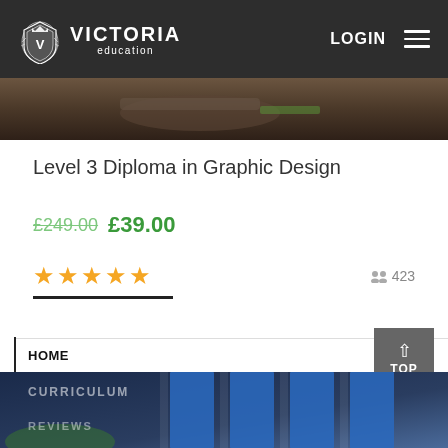VICTORIA education — LOGIN
[Figure (photo): Blurred dark photo of study materials / desk]
Level 3 Diploma in Graphic Design
£249.00 £39.00
★★★★★  423 enrolled
HOME
[Figure (photo): Blue building exterior / doors partially visible]